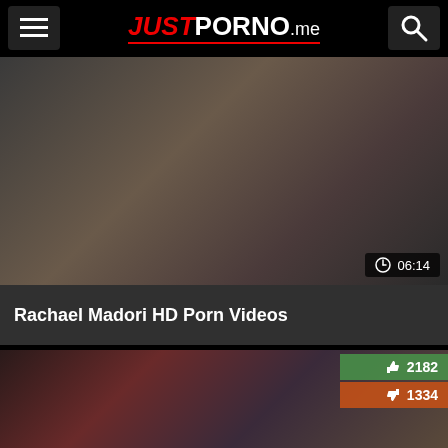JUSTPORNO.me
[Figure (screenshot): Video thumbnail showing a person with shaved sides hair, duration badge 06:14]
Rachael Madori HD Porn Videos
[Figure (screenshot): Video thumbnail with likes 2182 and dislikes 1334]